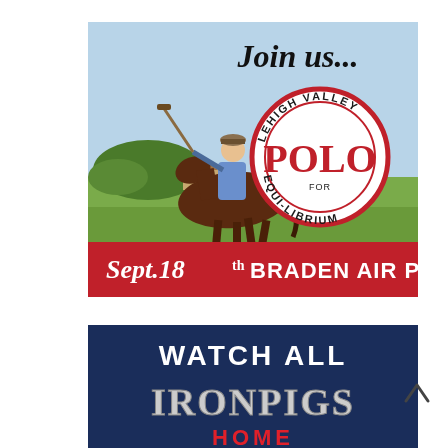[Figure (illustration): Polo event advertisement: A polo player on horseback on a green field, with the text 'Join us...' at top, a circular red and white logo reading 'LEHIGH VALLEY POLO FOR EQUI-LIBRIUM', and a red banner at the bottom reading 'Sept. 18th BRADEN AIR PARK'.]
[Figure (illustration): IronPigs advertisement with navy blue background: 'WATCH ALL IRONPIGS HOME' in white and red text.]